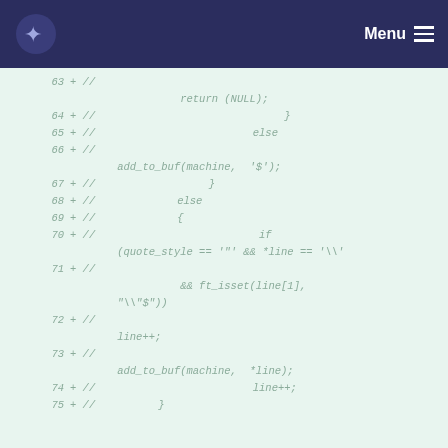Menu
[Figure (screenshot): Code diff view showing lines 63-75 of source code with commented-out C code, green background, italic monospace font]